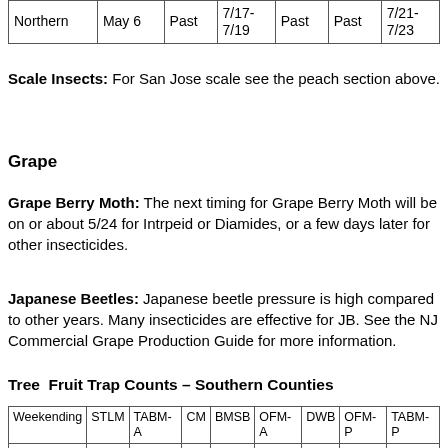|  |  |  |  |  |  |  |
| --- | --- | --- | --- | --- | --- | --- |
| Northern | May 6 | Past | 7/17-7/19 | Past | Past | 7/21-7/23 |
Scale Insects: For San Jose scale see the peach section above.
Grape
Grape Berry Moth: The next timing for Grape Berry Moth will be on or about 5/24 for Intrpeid or Diamides, or a few days later for other insecticides.
Japanese Beetles: Japanese beetle pressure is high compared to other years. Many insecticides are effective for JB. See the NJ Commercial Grape Production Guide for more information.
Tree  Fruit Trap Counts – Southern Counties
| Weekending | STLM | TABM-A | CM | BMSB | OFM-A | DWB | OFM-P | TABM-P |
| --- | --- | --- | --- | --- | --- | --- | --- | --- |
| 4/9/2022 | 2 |  |  |  | 0 |  | 0 |  |
| 4/16/2022 | 0 |  |  |  | 2 |  | 3 |  |